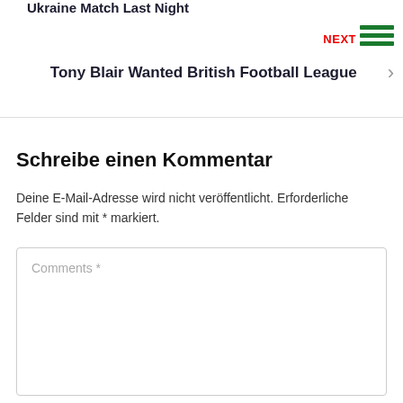Ukraine Match Last Night
NEXT
Tony Blair Wanted British Football League
Schreibe einen Kommentar
Deine E-Mail-Adresse wird nicht veröffentlicht. Erforderliche Felder sind mit * markiert.
Comments *